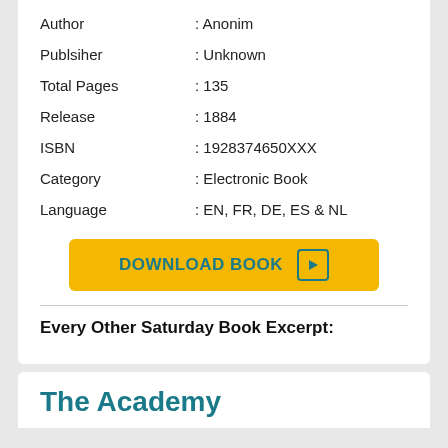Author : Anonim
Publsiher : Unknown
Total Pages : 135
Release : 1884
ISBN : 1928374650XXX
Category : Electronic Book
Language : EN, FR, DE, ES & NL
[Figure (other): Yellow download button with text DOWNLOAD BOOK and a play icon]
Every Other Saturday Book Excerpt:
The Academy